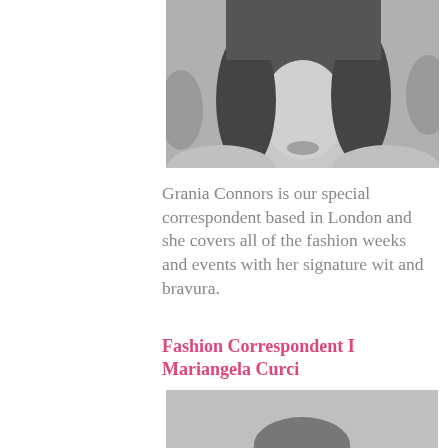[Figure (photo): Black and white close-up photo of a woman's face with dark hair, cropped at top of page]
Grania Connors is our special correspondent based in London and she covers all of the fashion weeks and events with her signature wit and bravura.
Fashion Correspondent I Mariangela Curci
[Figure (photo): Black and white photo of a young woman wearing a wide-brimmed hat, smiling, with blurred outdoor background]